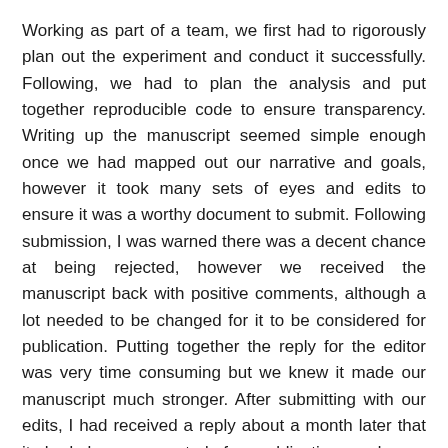Working as part of a team, we first had to rigorously plan out the experiment and conduct it successfully. Following, we had to plan the analysis and put together reproducible code to ensure transparency. Writing up the manuscript seemed simple enough once we had mapped out our narrative and goals, however it took many sets of eyes and edits to ensure it was a worthy document to submit. Following submission, I was warned there was a decent chance at being rejected, however we received the manuscript back with positive comments, although a lot needed to be changed for it to be considered for publication. Putting together the reply for the editor was very time consuming but we knew it made our manuscript much stronger. After submitting with our edits, I had received a reply about a month later that it had been accepted for publication and was available online on my birthday, a pleasant surprise. Something I need to stress is that while this is my first published paper as first author, I could not have gotten here without the support of my lab members and supervisors who were with me every step of the way.
For now, that monkey is gone, but not forgotten.
My first published paper as first author was recently published...